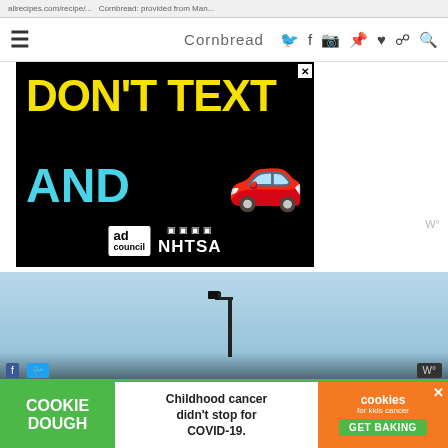allrecipes.com/recipe/... Cornbread: provided from Man...
Cornbread | Twitter | Facebook | Instagram | Pinterest | Bloglovin | RSS | Search
[Figure (photo): NHTSA/Ad Council ad banner on black background: 'DON'T TEXT AND [car emoji]' with Ad Council and NHTSA logos]
[Figure (photo): Outdoor photo showing blue sky with a traffic/security camera on a pole]
[Figure (photo): Cookie Dough ad bar: 'COOKIE DOUGH - Childhood cancer didn't stop for COVID-19. | cookies for kids cancer GET BAKING' with close X]